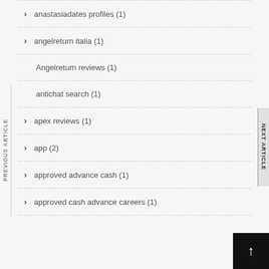anastasiadates profiles (1)
angelreturn italia (1)
Angelreturn reviews (1)
antichat search (1)
apex reviews (1)
app (2)
approved advance cash (1)
approved cash advance careers (1)